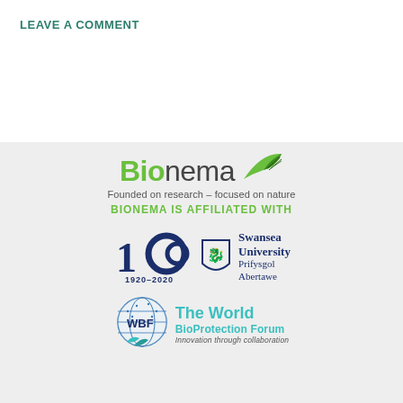LEAVE A COMMENT
[Figure (logo): Bionema logo with leaf graphic and tagline 'Founded on research – focused on nature', affiliated with Swansea University (100 years 1920-2020) and The World BioProtection Forum logos]